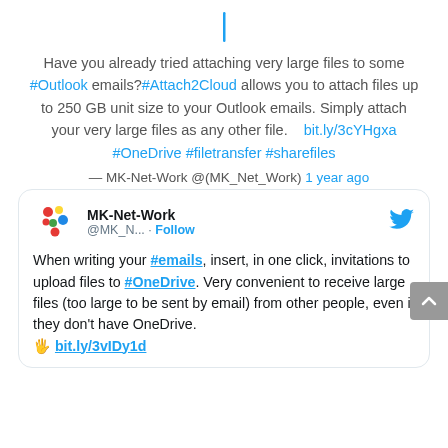[Figure (illustration): Thin vertical blue bar/cursor icon at top center]
Have you already tried attaching very large files to some #Outlook emails?#Attach2Cloud allows you to attach files up to 250 GB unit size to your Outlook emails. Simply attach your very large files as any other file.    bit.ly/3cYHgxa #OneDrive #filetransfer #sharefiles
— MK-Net-Work @(MK_Net_Work) 1 year ago
[Figure (screenshot): Embedded tweet card from MK-Net-Work (@MK_N...) with Follow button and Twitter bird logo. Tweet text: When writing your #emails, insert, in one click, invitations to upload files to #OneDrive. Very convenient to receive large files (too large to be sent by email) from other people, even if they don't have OneDrive. 👉 bit.ly/3vIDy1d]